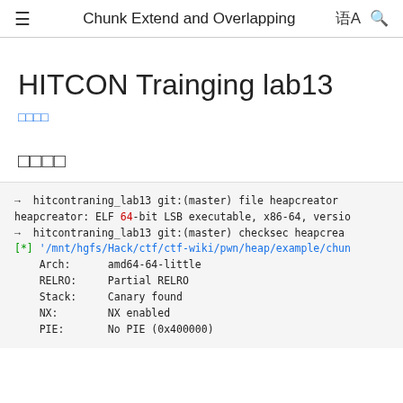≡  Chunk Extend and Overlapping  文A  🔍
HITCON Trainging lab13
□□□□
□□□□
→  hitcontraning_lab13 git:(master) file heapcreator
heapcreator: ELF 64-bit LSB executable, x86-64, versio
→  hitcontraning_lab13 git:(master) checksec heapcrea
[*] '/mnt/hgfs/Hack/ctf/ctf-wiki/pwn/heap/example/chun
    Arch:      amd64-64-little
    RELRO:     Partial RELRO
    Stack:     Canary found
    NX:        NX enabled
    PIE:       No PIE (0x400000)